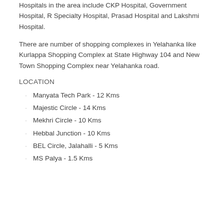Hospitals in the area include CKP Hospital, Government Hospital, R Specialty Hospital, Prasad Hospital and Lakshmi Hospital.
There are number of shopping complexes in Yelahanka like Kurlappa Shopping Complex at State Highway 104 and New Town Shopping Complex near Yelahanka road.
LOCATION
Manyata Tech Park - 12 Kms
Majestic Circle - 14 Kms
Mekhri Circle - 10 Kms
Hebbal Junction - 10 Kms
BEL Circle, Jalahalli - 5 Kms
MS Palya - 1.5 Kms